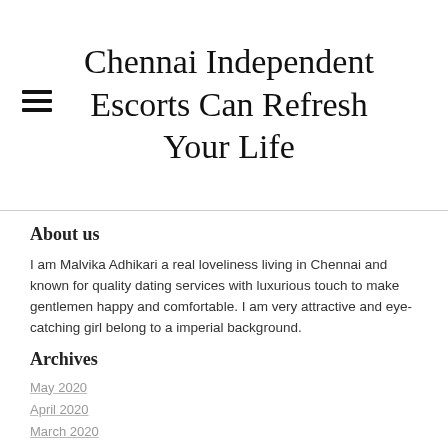Chennai Independent Escorts Can Refresh Your Life
About us
I am Malvika Adhikari a real loveliness living in Chennai and known for quality dating services with luxurious touch to make gentlemen happy and comfortable. I am very attractive and eye-catching girl belong to a imperial background.
Archives
May 2020
April 2020
March 2020
February 2020
January 2020
August 2019
May 2019
April 2019
July 2018